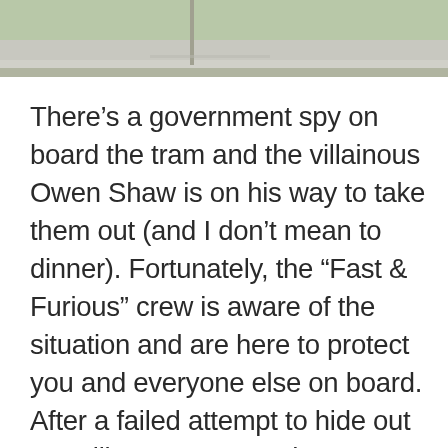[Figure (photo): Partial outdoor photo showing a concrete curb and pavement area with grass or ground cover in the background, cropped at the top of the page.]
There’s a government spy on board the tram and the villainous Owen Shaw is on his way to take them out (and I don’t mean to dinner). Fortunately, the “Fast & Furious” crew is aware of the situation and are here to protect you and everyone else on board. After a failed attempt to hide out at Sullivan’s Garage, the tram finds itself in a high-speed chase through the streets of LA, with intense action happening all around it. This attraction uses similar technology to